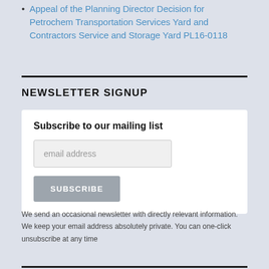Appeal of the Planning Director Decision for Petrochem Transportation Services Yard and Contractors Service and Storage Yard PL16-0118
NEWSLETTER SIGNUP
Subscribe to our mailing list
We send an occasional newsletter with directly relevant information. We keep your email address absolutely private. You can one-click unsubscribe at any time